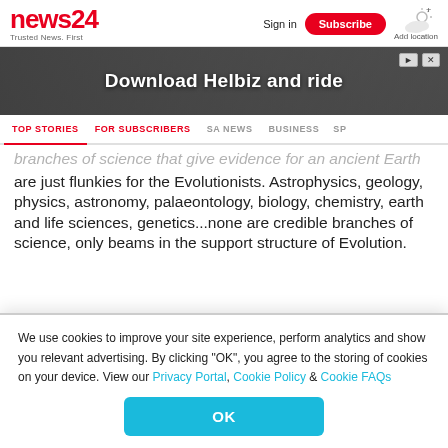news24 Trusted News. First | Sign in | Subscribe | Add location
[Figure (screenshot): Advertisement banner: Download Helbiz and ride]
TOP STORIES | FOR SUBSCRIBERS | SA NEWS | BUSINESS | SP
branches of science that give evidence for an ancient Earth are just flunkies for the Evolutionists. Astrophysics, geology, physics, astronomy, palaeontology, biology, chemistry, earth and life sciences, genetics...none are credible branches of science, only beams in the support structure of Evolution.
We use cookies to improve your site experience, perform analytics and show you relevant advertising. By clicking "OK", you agree to the storing of cookies on your device. View our Privacy Portal, Cookie Policy & Cookie FAQs
OK